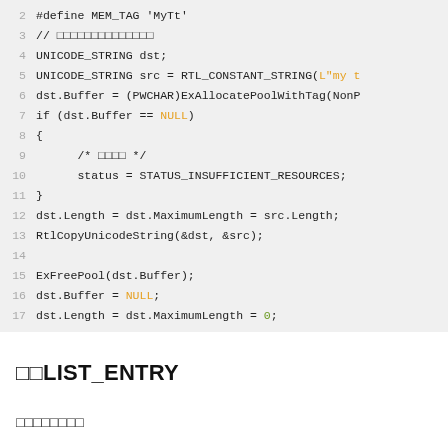[Figure (screenshot): Code block showing C/C++ kernel driver code with line numbers 2-17. Contains UNICODE_STRING operations, ExAllocatePoolWithTag, RtlCopyUnicodeString, ExFreePool calls, with NULL and 0 highlighted in orange/green.]
□□LIST_ENTRY
□□□□□□□□